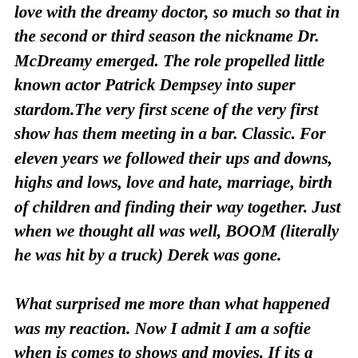love with the dreamy doctor, so much so that in the second or third season the nickname Dr. McDreamy emerged. The role propelled little known actor Patrick Dempsey into super stardom.The very first scene of the very first show has them meeting in a bar. Classic. For eleven years we followed their ups and downs, highs and lows, love and hate, marriage, birth of children and finding their way together. Just when we thought all was well, BOOM (literally he was hit by a truck) Derek was gone.

What surprised me more than what happened was my reaction. Now I admit I am a softie when is comes to shows and movies. If its a good show I cry